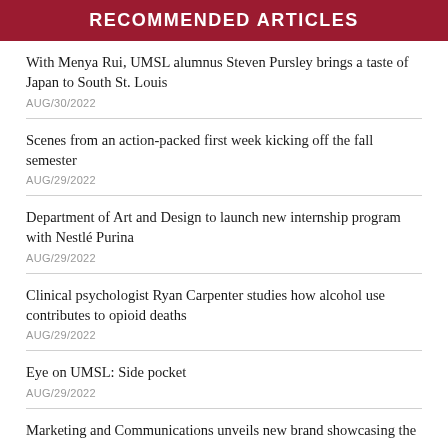RECOMMENDED ARTICLES
With Menya Rui, UMSL alumnus Steven Pursley brings a taste of Japan to South St. Louis
AUG/30/2022
Scenes from an action-packed first week kicking off the fall semester
AUG/29/2022
Department of Art and Design to launch new internship program with Nestlé Purina
AUG/29/2022
Clinical psychologist Ryan Carpenter studies how alcohol use contributes to opioid deaths
AUG/29/2022
Eye on UMSL: Side pocket
AUG/29/2022
Marketing and Communications unveils new brand showcasing the ways